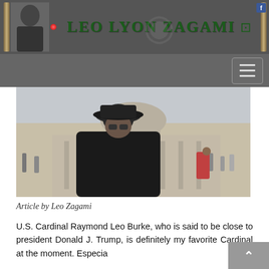LEO LYON ZAGAMI
[Figure (photo): Man in black fedora hat and black coat standing in front of St. Peter's Basilica, Vatican, with tourists in background]
Article by Leo Zagami
U.S. Cardinal Raymond Leo Burke, who is said to be close to president Donald J. Trump, is definitely my favorite Cardinal at the moment. Especia...